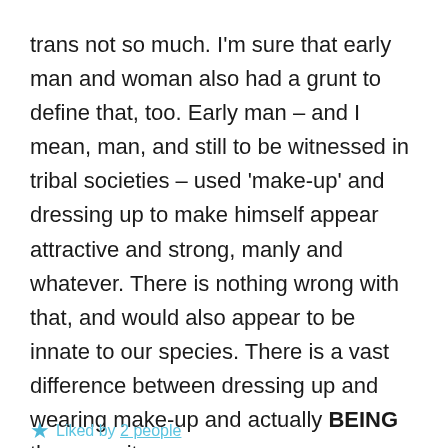trans not so much. I'm sure that early man and woman also had a grunt to define that, too. Early man – and I mean, man, and still to be witnessed in tribal societies – used 'make-up' and dressing up to make himself appear attractive and strong, manly and whatever. There is nothing wrong with that, and would also appear to be innate to our species. There is a vast difference between dressing up and wearing make-up and actually BEING the opposite sex.
Liked by 2 people